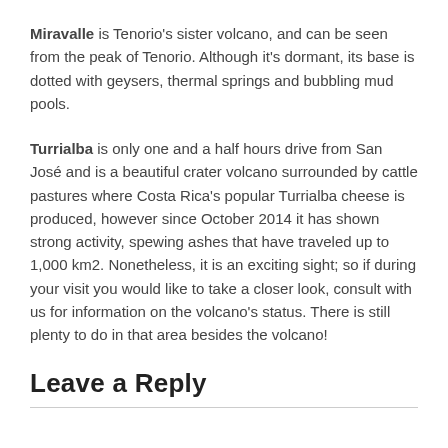Miravalle is Tenorio's sister volcano, and can be seen from the peak of Tenorio. Although it's dormant, its base is dotted with geysers, thermal springs and bubbling mud pools.
Turrialba is only one and a half hours drive from San José and is a beautiful crater volcano surrounded by cattle pastures where Costa Rica's popular Turrialba cheese is produced, however since October 2014 it has shown strong activity, spewing ashes that have traveled up to 1,000 km2. Nonetheless, it is an exciting sight; so if during your visit you would like to take a closer look, consult with us for information on the volcano's status. There is still plenty to do in that area besides the volcano!
Leave a Reply